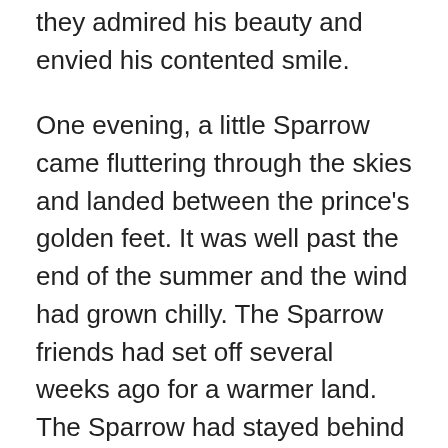often looked up at the Happy Prince and sighed, for they admired his beauty and envied his contented smile.
One evening, a little Sparrow came fluttering through the skies and landed between the prince's golden feet. It was well past the end of the summer and the wind had grown chilly. The Sparrow friends had set off several weeks ago for a warmer land. The Sparrow had stayed behind because he had fallen in love with a slender reed by the river, and he could not bear to leave her. But the wind had grown chilly and the bite of frost had crept into the air. The shivering Sparrow had realized that to stay any longer would mean certain death from the cold. He had begged the reed to travel with him, but the reed had simply shaken her head.